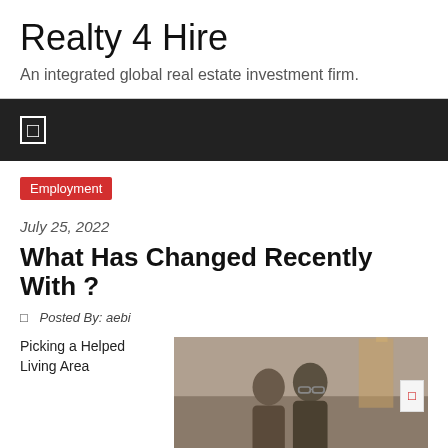Realty 4 Hire
An integrated global real estate investment firm.
☰
Employment
July 25, 2022
What Has Changed Recently With ?
Posted By: aebi
Picking a Helped Living Area
[Figure (photo): Two elderly people, a man and a woman, sitting together, the man wearing glasses]